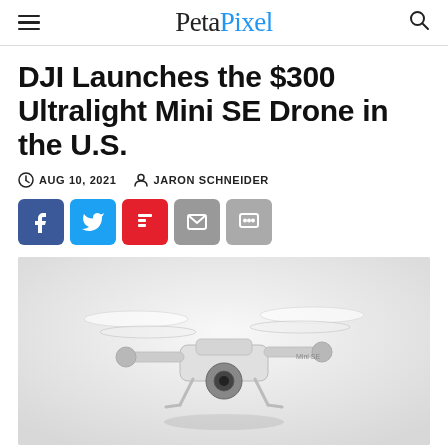PetaPixel
DJI Launches the $300 Ultralight Mini SE Drone in the U.S.
AUG 10, 2021   JARON SCHNEIDER
[Figure (photo): DJI Mini SE drone flying against a light gray background, showing the small white quadcopter with camera gimbal and spinning propellers]